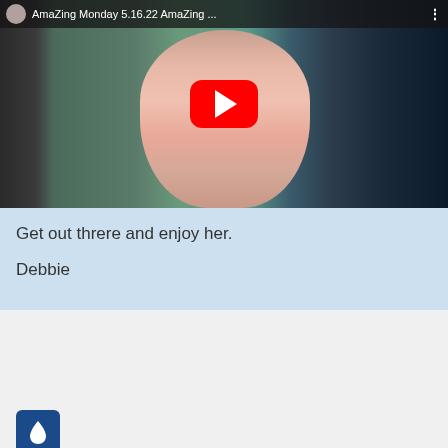[Figure (screenshot): YouTube video thumbnail showing a woman with gray hair wearing a pink top, smiling. Background shows a waterway/marina. Video title reads 'AmaZing Monday 5.16.22 AmaZing ...' with a red YouTube play button overlay.]
Get out threre and enjoy her.
Debbie
[Figure (logo): Blue square icon with a white water droplet symbol]